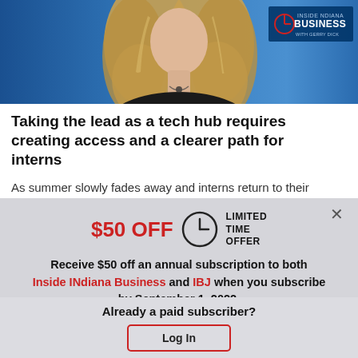[Figure (photo): Woman with blonde wavy hair against a blue background, with Inside INdiana Business logo overlay in top right corner]
Taking the lead as a tech hub requires creating access and a clearer path for interns
As summer slowly fades away and interns return to their
$50 OFF  LIMITED TIME OFFER
Receive $50 off an annual subscription to both Inside INdiana Business and IBJ when you subscribe by September 1, 2022.
Subscribe Now
Already a paid subscriber?
Log In